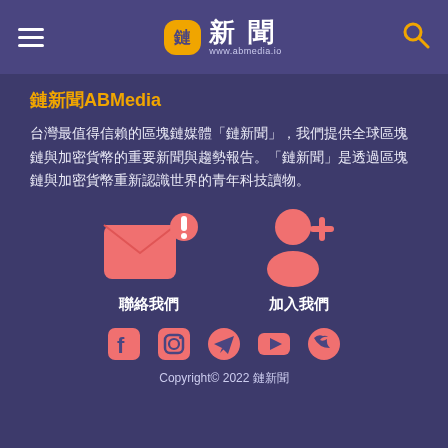鏈新聞 ABMedia www.abmedia.io
鏈新聞ABMedia
台灣最值得信賴的區塊鏈媒體「鏈新聞」，我們提供全球區塊鏈與加密貨幣的重要新聞與趨勢報告。「鏈新聞」是透過區塊鏈與加密貨幣重新認識世界的青年科技讀物。
[Figure (illustration): Two salmon/coral colored icons: an envelope with exclamation mark labeled 聯絡我們 (Contact Us), and a person with plus sign labeled 加入我們 (Join Us)]
[Figure (illustration): Five salmon/coral colored social media icons: Facebook, Instagram, Telegram, YouTube, Twitter]
Copyright© 2022 鏈新聞